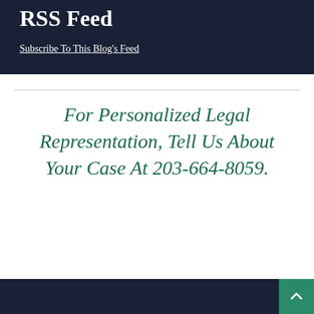RSS Feed
Subscribe To This Blog's Feed
For Personalized Legal Representation, Tell Us About Your Case At 203-664-8059.